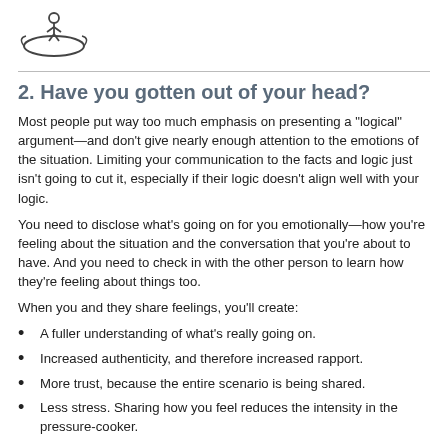[Figure (logo): A circular logo with a figure sitting on top of an orbital/ring shape]
2.  Have you gotten out of your head?
Most people put way too much emphasis on presenting a “logical” argument—and don’t give nearly enough attention to the emotions of the situation. Limiting your communication to the facts and logic just isn’t going to cut it, especially if their logic doesn’t align well with your logic.
You need to disclose what’s going on for you emotionally—how you’re feeling about the situation and the conversation that you’re about to have. And you need to check in with the other person to learn how they’re feeling about things too.
When you and they share feelings, you’ll create:
A fuller understanding of what’s really going on.
Increased authenticity, and therefore increased rapport.
More trust, because the entire scenario is being shared.
Less stress. Sharing how you feel reduces the intensity in the pressure-cooker.